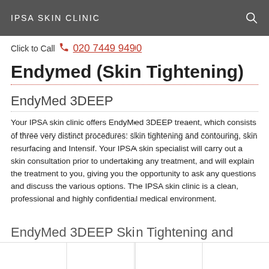IPSA SKIN CLINIC
Click to Call  020 7449 9490
Endymed (Skin Tightening)
EndyMed 3DEEP
Your IPSA skin clinic offers EndyMed 3DEEP treaent, which consists of three very distinct procedures: skin tightening and contouring, skin resurfacing and Intensif. Your IPSA skin specialist will carry out a skin consultation prior to undertaking any treatment, and will explain the treatment to you, giving you the opportunity to ask any questions and discuss the various options. The IPSA skin clinic is a clean, professional and highly confidential medical environment.
EndyMed 3DEEP Skin Tightening and